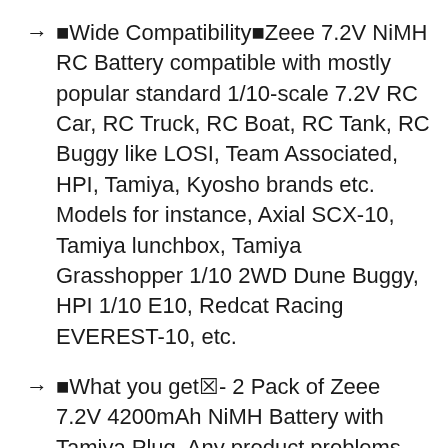🔴Wide Compatibility🔴Zeee 7.2V NiMH RC Battery compatible with mostly popular standard 1/10-scale 7.2V RC Car, RC Truck, RC Boat, RC Tank, RC Buggy like LOSI, Team Associated, HPI, Tamiya, Kyosho brands etc. Models for instance, Axial SCX-10, Tamiya lunchbox, Tamiya Grasshopper 1/10 2WD Dune Buggy, HPI 1/10 E10, Redcat Racing EVEREST-10, etc.
🔴What you get🔴- 2 Pack of Zeee 7.2V 4200mAh NiMH Battery with Tamiya Plug. Any product problems, please Contact US: 1. Enter into "Your Orders" to click "Contact Seller" option; 2. Click "Ask